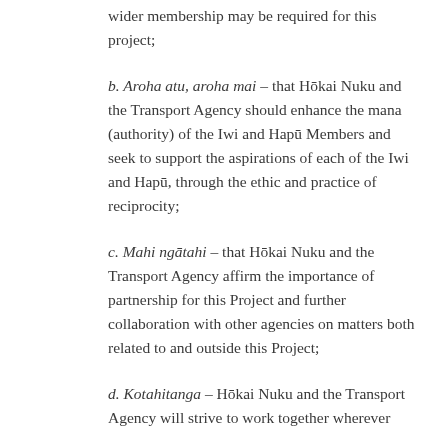wider membership may be required for this project;
b. Aroha atu, aroha mai – that Hōkai Nuku and the Transport Agency should enhance the mana (authority) of the Iwi and Hapū Members and seek to support the aspirations of each of the Iwi and Hapū, through the ethic and practice of reciprocity;
c. Mahi ngātahi – that Hōkai Nuku and the Transport Agency affirm the importance of partnership for this Project and further collaboration with other agencies on matters both related to and outside this Project;
d. Kotahitanga – Hōkai Nuku and the Transport Agency will strive to work together wherever